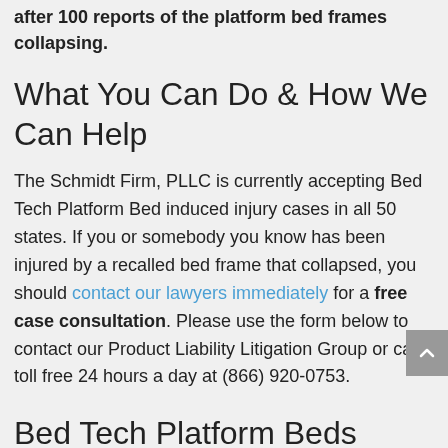after 100 reports of the platform bed frames collapsing.
What You Can Do & How We Can Help
The Schmidt Firm, PLLC is currently accepting Bed Tech Platform Bed induced injury cases in all 50 states. If you or somebody you know has been injured by a recalled bed frame that collapsed, you should contact our lawyers immediately for a free case consultation. Please use the form below to contact our Product Liability Litigation Group or call toll free 24 hours a day at (866) 920-0753.
Bed Tech Platform Beds Recalled for Injury Hazard